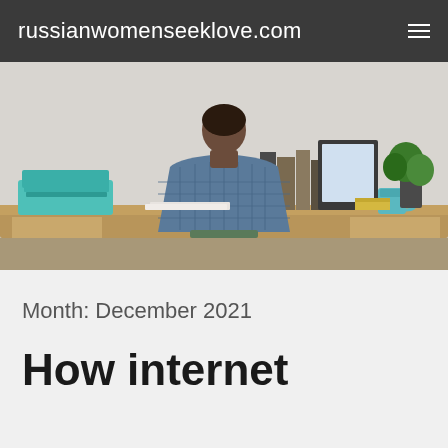russianwomenseeklove.com
[Figure (photo): Man seen from behind sitting at a wooden desk with books, a teal typewriter, a mug, and a plant against a white brick wall background]
Month: December 2021
How internet